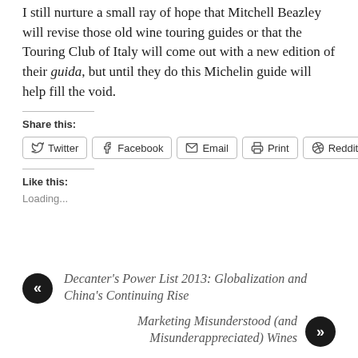I still nurture a small ray of hope that Mitchell Beazley will revise those old wine touring guides or that the Touring Club of Italy will come out with a new edition of their guida, but until they do this Michelin guide will help fill the void.
Share this:
Twitter | Facebook | Email | Print | Reddit
Like this:
Loading...
« Decanter's Power List 2013: Globalization and China's Continuing Rise
Marketing Misunderstood (and Misunderappreciated) Wines »